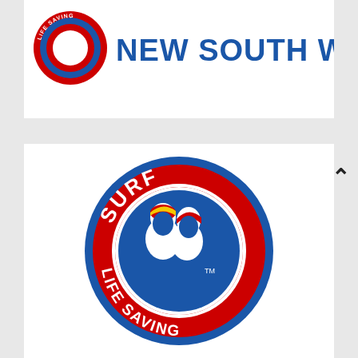[Figure (logo): Surf Life Saving New South Wales logo — circular badge with star motif and 'LIFE SAVING' text in red ring, next to bold blue 'NEW SOUTH WALES' text]
[Figure (logo): Surf Life Saving Australia logo — large circular badge in red and blue with two white lifesaver profiles wearing caps (one yellow, one red), text 'SURF' at top and 'LIFE SAVING' at bottom around the ring, with TM mark]